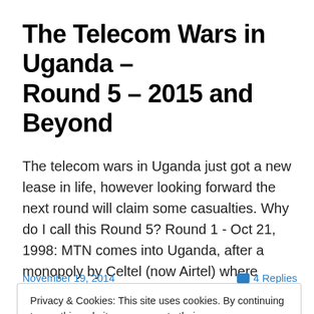The Telecom Wars in Uganda – Round 5 – 2015 and Beyond
The telecom wars in Uganda just got a new lease in life, however looking forward the next round will claim some casualties. Why do I call this Round 5? Round 1 - Oct 21, 1998: MTN comes into Uganda, after a monopoly by Celtel (now Airtel) where simcards fell to the equivalent of US$30 with a … Continue reading →
November 19, 2014
4 Replies
Privacy & Cookies: This site uses cookies. By continuing to use this website, you agree to their use.
To find out more, including how to control cookies, see here: Cookie Policy